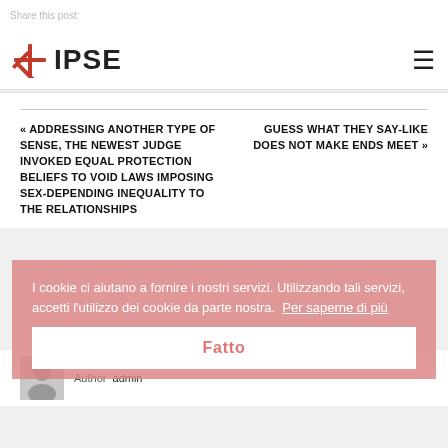Share this post:
[Figure (logo): IPSE logo with compass star and bold text]
« ADDRESSING ANOTHER TYPE OF SENSE, THE NEWEST JUDGE INVOKED EQUAL PROTECTION BELIEFS TO VOID LAWS IMPOSING SEX-DEPENDING INEQUALITY TO THE RELATIONSHIPS
GUESS WHAT THEY SAY-LIKE DOES NOT MAKE ENDS MEET »
[Figure (photo): Author avatar placeholder silhouette]
Author  admin
I cookie ci aiutano a fornire i nostri servizi. Utilizzando tali servizi, accetti l'utilizzo dei cookie da parte nostra.  Per saperne di più
Fatto